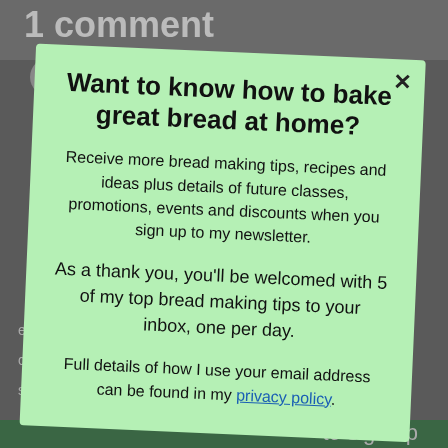1 comment
Janet Relfe on August 21, 2014 at 7:55
[Figure (screenshot): Modal popup overlay on a blog page with light green background. Contains a title, body text about bread-making newsletter, and a privacy policy link.]
Want to know how to bake great bread at home?
Receive more bread making tips, recipes and ideas plus details of future classes, promotions, events and discounts when you sign up to my newsletter.
As a thank you, you’ll be welcomed with 5 of my top bread making tips to your inbox, one per day.
Full details of how I use your email address can be found in my privacy policy.